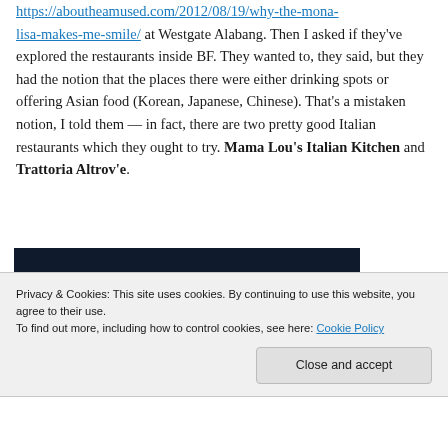https://aboutheamused.com/2012/08/19/why-the-mona-lisa-makes-me-smile/ at Westgate Alabang. Then I asked if they've explored the restaurants inside BF. They wanted to, they said, but they had the notion that the places there were either drinking spots or offering Asian food (Korean, Japanese, Chinese). That's a mistaken notion, I told them — in fact, there are two pretty good Italian restaurants which they ought to try. Mama Lou's Italian Kitchen and Trattoria Altrov'e.
[Figure (photo): Partial view of a dark navy/black background image with a pink/magenta horizontal bar and a light circular element on the right side]
Privacy & Cookies: This site uses cookies. By continuing to use this website, you agree to their use.
To find out more, including how to control cookies, see here: Cookie Policy
Close and accept